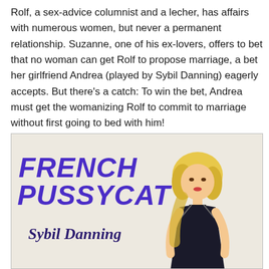Rolf, a sex-advice columnist and a lecher, has affairs with numerous women, but never a permanent relationship. Suzanne, one of his ex-lovers, offers to bet that no woman can get Rolf to propose marriage, a bet her girlfriend Andrea (played by Sybil Danning) eagerly accepts. But there's a catch: To win the bet, Andrea must get the womanizing Rolf to commit to marriage without first going to bed with him!
[Figure (illustration): Movie poster for 'French Pussycat' featuring the title in large bold italic purple letters, the name 'Sybil Danning' in italic script, and an illustrated image of a blonde woman in a revealing outfit.]